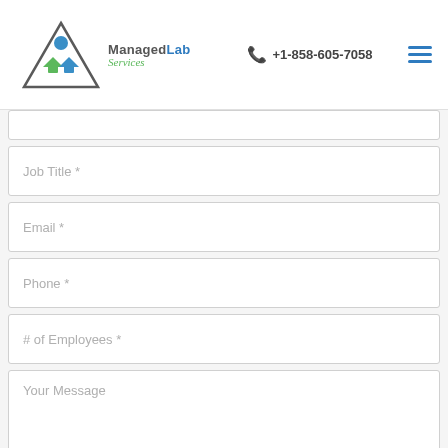[Figure (logo): ManagedLab Services logo with triangular icon in green and blue, company name in grey and green script]
+1-858-605-7058
Job Title *
Email *
Phone *
# of Employees *
Your Message
SUBMIT